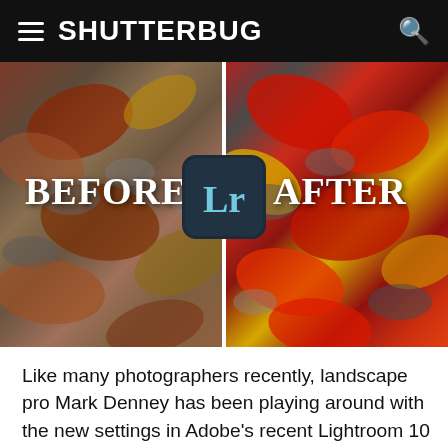SHUTTERBUG
[Figure (photo): Before/after comparison photo showing autumn leaves on rocks. Left half (Before) is muted/darker tones; right half (After) is vibrant with vivid red, yellow, and orange leaves. Adobe Lightroom Lr icon centered at the dividing line. Text 'BEFORE' on left, 'AFTER' on right.]
Like many photographers recently, landscape pro Mark Denney has been playing around with the new settings in Adobe's recent Lightroom 10 update and what he's discovered has left his mind slightly blown. According to Denney, there's a new tool in Lightroom